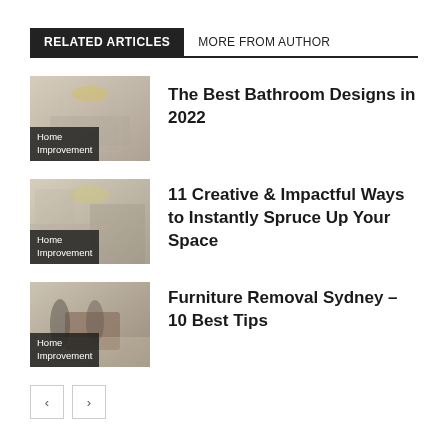RELATED ARTICLES | MORE FROM AUTHOR
[Figure (photo): Thumbnail image of a bathroom interior with chandelier lighting, labeled Home Improvement]
The Best Bathroom Designs in 2022
[Figure (photo): Thumbnail image of a living room interior with chandelier, labeled Home Improvement]
11 Creative & Impactful Ways to Instantly Spruce Up Your Space
[Figure (photo): Thumbnail image of two people moving furniture, labeled Home Improvement]
Furniture Removal Sydney – 10 Best Tips